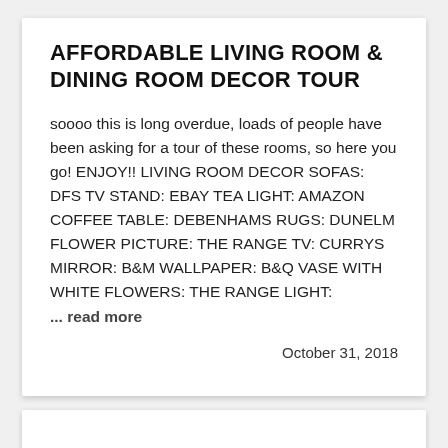AFFORDABLE LIVING ROOM & DINING ROOM DECOR TOUR
soooo this is long overdue, loads of people have been asking for a tour of these rooms, so here you go! ENJOY!! LIVING ROOM DECOR SOFAS: DFS TV STAND: EBAY TEA LIGHT: AMAZON COFFEE TABLE: DEBENHAMS RUGS: DUNELM FLOWER PICTURE: THE RANGE TV: CURRYS MIRROR: B&M WALLPAPER: B&Q VASE WITH WHITE FLOWERS: THE RANGE LIGHT:
... read more
October 31, 2018